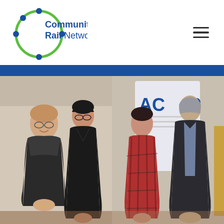[Figure (logo): Community Rail Network logo — green circular ring with blue dots and blue text reading 'Community Rail Network']
[Figure (photo): Group photograph of four people standing indoors at what appears to be a Community Rail Network event. Two women on the left wearing black clothing, a woman in red plaid dress and a tall man in a dark jacket on the right. An 'ACORP' banner is visible in the background on the right side.]